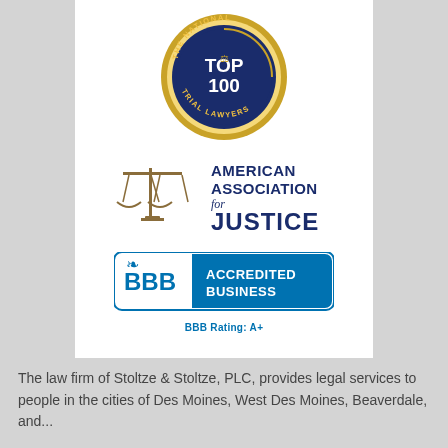[Figure (logo): The National Trial Lawyers Top 100 badge — circular gold and navy emblem with a figure holding scales of justice, text 'THE NATIONAL TOP 100 TRIAL LAWYERS']
[Figure (logo): American Association for Justice logo — gold scales of justice icon with navy text 'AMERICAN ASSOCIATION for JUSTICE']
[Figure (logo): BBB Accredited Business logo — teal rectangle with BBB flame logo on left, white text 'ACCREDITED BUSINESS' on right, 'BBB Rating: A+' below]
The law firm of Stoltze & Stoltze, PLC, provides legal services to people in the cities of Des Moines, West Des Moines, Beaverdale, and...